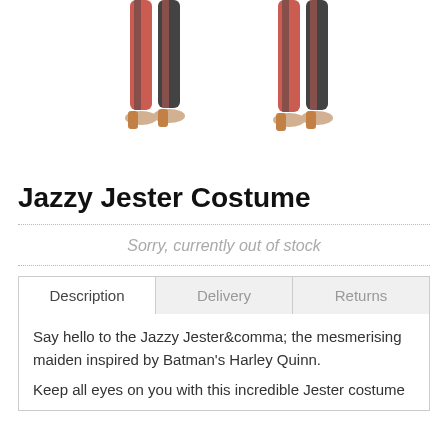[Figure (photo): Two partial views of a Jazzy Jester costume showing legs in red and black striped tights with heeled shoes, cropped at the top]
Jazzy Jester Costume
Sorry, currently out of stock
Description | Delivery | Returns (tabs)
Say hello to the Jazzy Jester&comma; the mesmerising maiden inspired by Batman's Harley Quinn.
Keep all eyes on you with this incredible Jester costume